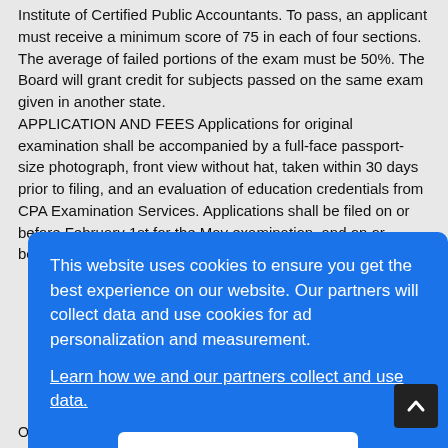Institute of Certified Public Accountants. To pass, an applicant must receive a minimum score of 75 in each of four sections. The average of failed portions of the exam must be 50%. The Board will grant credit for subjects passed on the same exam given in another state. APPLICATION AND FEES Applications for original examination shall be accompanied by a full-face passport-size photograph, front view without hat, taken within 30 days prior to filing, and an evaluation of education credentials from CPA Examination Services. Applications shall be filed on or before February 1st for the May examination, and on or before August 15th for the November examination.
[Figure (screenshot): Cookie consent overlay with blue background. Text reads: 'This website uses cookies to ensure you get the best experience on our website. Our partners will collect data and use cookies for ad personalization and measurement.' with a link 'Learn how we and our partners collect and use data.' and an OK button.]
O*NET Code: 29-2034.03